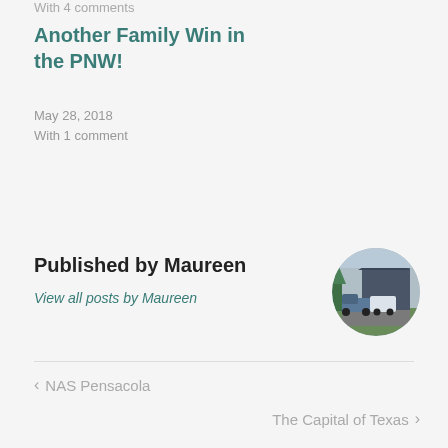With 4 comments
Another Family Win in the PNW!
May 28, 2018
With 1 comment
Published by Maureen
View all posts by Maureen
[Figure (photo): Circular avatar photo showing a truck and trailer parked in a driveway in front of a house.]
< NAS Pensacola
The Capital of Texas >